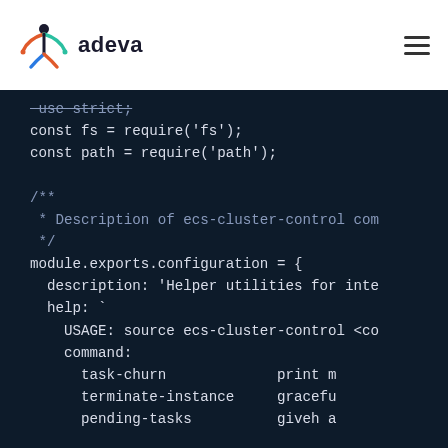adeva
[Figure (screenshot): Code block showing Node.js JavaScript source code on a dark navy background. Code includes 'use strict', require statements for 'fs' and 'path', a JSDoc comment block for ecs-cluster-control command description, and module.exports.configuration object with description, help, USAGE, command, task-churn, terminate-instance, and pending-tasks fields.]